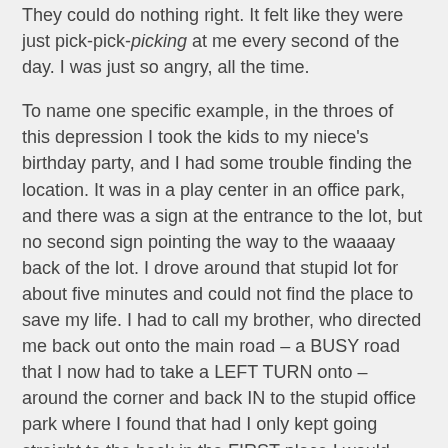They could do nothing right. It felt like they were just pick-pick-picking at me every second of the day. I was just so angry, all the time.
To name one specific example, in the throes of this depression I took the kids to my niece's birthday party, and I had some trouble finding the location. It was in a play center in an office park, and there was a sign at the entrance to the lot, but no second sign pointing the way to the waaaay back of the lot. I drove around that stupid lot for about five minutes and could not find the place to save my life. I had to call my brother, who directed me back out onto the main road – a BUSY road that I now had to take a LEFT TURN onto – around the corner and back IN to the stupid office park where I found that had I only kept going straight to the back in the FIRST place I would have FOUND the stupid playspace FIVE MINUTES AGO.
I seethed about that for at least thirty minutes. I seethed at the people who decided to put something like that at the BACK of the lot, I seethed at whoever was in charge of signage for not including a second sign, I seethed at the